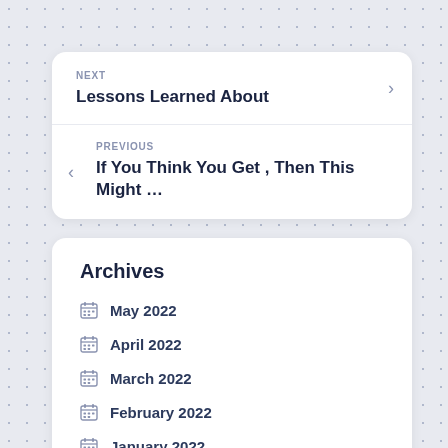NEXT
Lessons Learned About
PREVIOUS
If You Think You Get , Then This Might …
Archives
May 2022
April 2022
March 2022
February 2022
January 2022